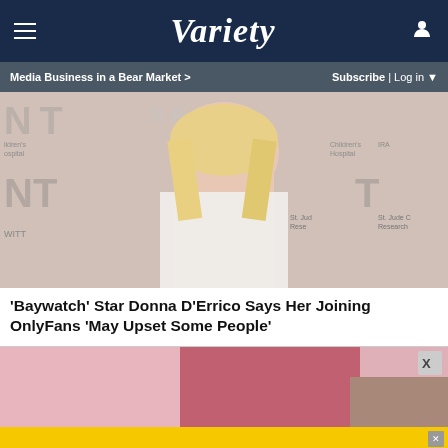VARIETY — Media Business in a Bear Market > | Subscribe | Log in
[Figure (photo): Blonde woman in white outfit at a charity event backdrop with 'Children's Hospital' and 'St. Jude' signage]
'Baywatch' Star Donna D'Errico Says Her Joining OnlyFans 'May Upset Some People'
[Figure (photo): Partial image of person in pink outfit next to red surface]
ADJUSTABLE DUMBBELLS SPY TESTED & REVIEWED